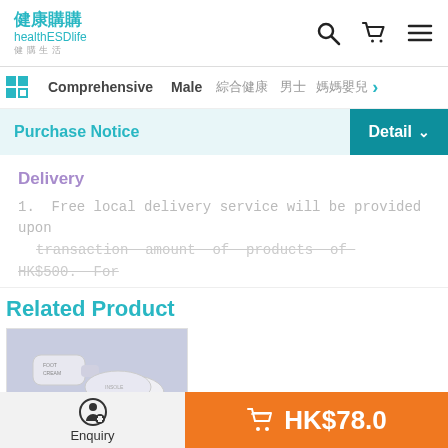[Figure (logo): healthESDlife logo with Chinese text 健康網購 in teal color]
Comprehensive  Male  [Chinese]  [Chinese]  [Chinese] >
Purchase Notice
Delivery
1. Free local delivery service will be provided upon transaction amount of products of HK$500. For
Related Product
[Figure (photo): Product photo showing foot care cream tube and insoles on light purple background]
Enquiry  HK$78.0